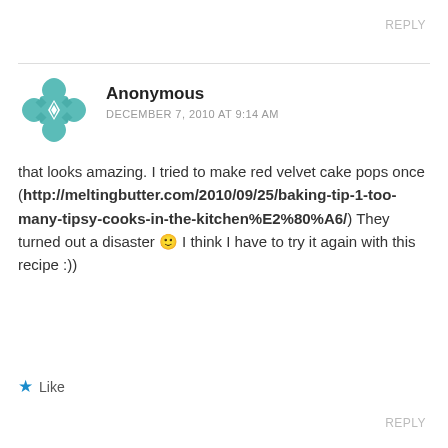REPLY
[Figure (logo): Teal/green decorative geometric avatar icon with cross and diamond pattern]
Anonymous
DECEMBER 7, 2010 AT 9:14 AM
that looks amazing. I tried to make red velvet cake pops once (http://meltingbutter.com/2010/09/25/baking-tip-1-too-many-tipsy-cooks-in-the-kitchen%E2%80%A6/) They turned out a disaster 🙂 I think I have to try it again with this recipe :))
★ Like
REPLY